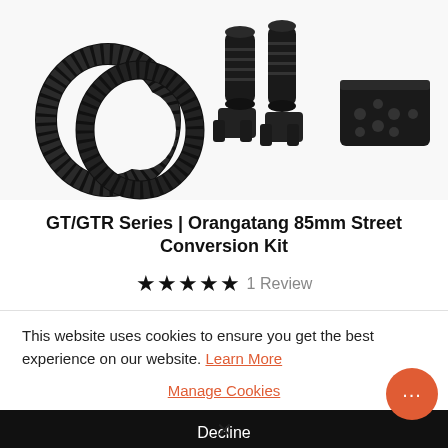[Figure (photo): Product photo of GT/GTR Series Orangatang 85mm Street Conversion Kit, showing two toothed belts, two black clamp brackets, two cylindrical adapters, and a small black case with components, all on a white background]
GT/GTR Series | Orangatang 85mm Street Conversion Kit
★★★★★  1 Review
$277.99
This website uses cookies to ensure you get the best experience on our website. Learn More
Manage Cookies
Decline
Allow All
✕